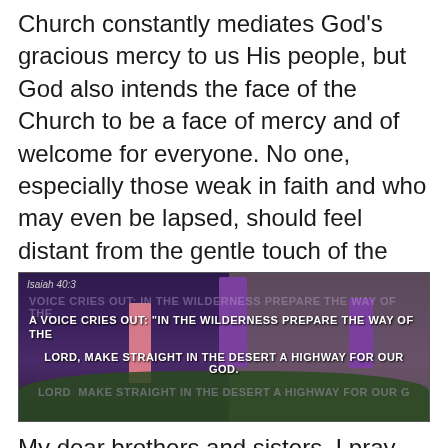Church constantly mediates God's gracious mercy to us His people, but God also intends the face of the Church to be a face of mercy and of welcome for everyone. No one, especially those weak in faith and who may even be lapsed, should feel distant from the gentle touch of the Divine Mercy, so visibly revealed to us in Jesus Christ.
[Figure (photo): Advent wreath with purple and pink candles surrounded by green foliage and red berries, with a stone wall background. Overlaid text: Isaiah 40:3 — 'A voice cries out: In the wilderness prepare the way of the Lord, make straight in the desert a highway for our God.']
My dear brothers and sisters, I pray that this